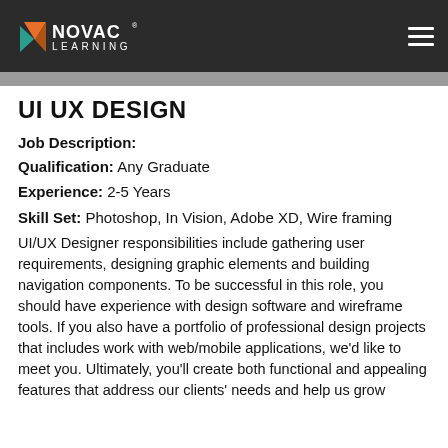NOVAC LEARNING
UI UX DESIGN
Job Description:
Qualification: Any Graduate
Experience: 2-5 Years
Skill Set: Photoshop, In Vision, Adobe XD, Wire framing
UI/UX Designer responsibilities include gathering user requirements, designing graphic elements and building navigation components. To be successful in this role, you should have experience with design software and wireframe tools. If you also have a portfolio of professional design projects that includes work with web/mobile applications, we'd like to meet you. Ultimately, you'll create both functional and appealing features that address our clients' needs and help us grow